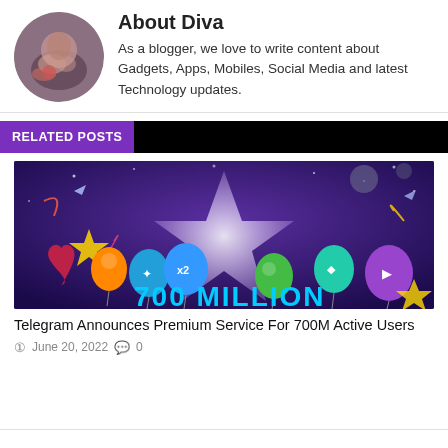About Diva
As a blogger, we love to write content about Gadgets, Apps, Mobiles, Social Media and latest Technology updates.
RELATED POSTS
[Figure (photo): Telegram 700 Million users celebration banner with a large white star, colorful balloons, and '700 MILLION' text on a purple space background.]
Telegram Announces Premium Service For 700M Active Users
June 20, 2022  0